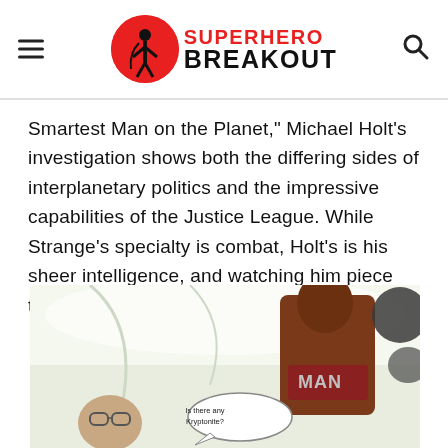Superhero Breakout
Smartest Man on the Planet," Michael Holt's investigation shows both the differing sides of interplanetary politics and the impressive capabilities of the Justice League. While Strange's specialty is combat, Holt's is his sheer intelligence, and watching him piece things together is particularly thrilling.
[Figure (illustration): Comic book panel showing two characters in a futuristic setting. A character on the left with glasses and a speech bubble reading 'Is there any Kryptonite?' and a taller dark-skinned male character on the right wearing a costume with 'MAN' visible on the chest, in a bright white interior environment.]